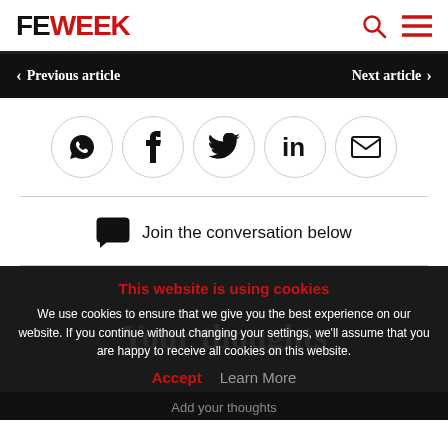FE WEEK
< Previous article   Next article >
[Figure (infographic): Social sharing icons row: WhatsApp, Facebook, Twitter, LinkedIn, Email — each in a circle]
Join the conversation below
This website is using cookies
We use cookies to ensure that we give you the best experience on our website. If you continue without changing your settings, we'll assume that you are happy to receive all cookies on this website.
Accept   Learn More
Add your thoughts